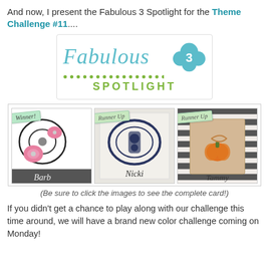And now, I present the Fabulous 3 Spotlight for the Theme Challenge #11....
[Figure (logo): Fabulous 3 Spotlight logo with teal script 'Fabulous', green dotted line, green uppercase 'SPOTLIGHT' text, and teal flower/bubble with number 3]
[Figure (photo): Three card images side by side: Winner card by Barb (pink flowers on black and white), Runner Up card by Nicki (blue damask design), Runner Up card by Tammy (autumn themed with orange pumpkin on striped background)]
(Be sure to click the images to see the complete card!)
If you didn't get a chance to play along with our challenge this time around, we will have a brand new color challenge coming on Monday!